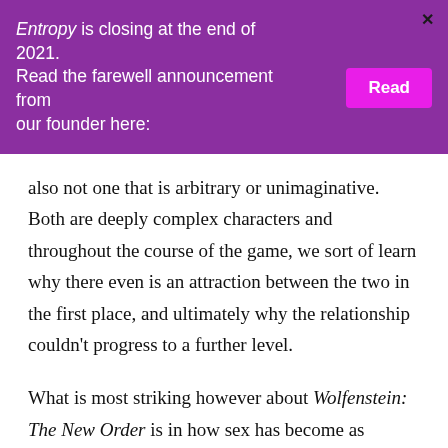Entropy is closing at the end of 2021. Read the farewell announcement from our founder here: [Read]
also not one that is arbitrary or unimaginative. Both are deeply complex characters and throughout the course of the game, we sort of learn why there even is an attraction between the two in the first place, and ultimately why the relationship couldn't progress to a further level.

What is most striking however about Wolfenstein: The New Order is in how sex has become as mundane as violence or